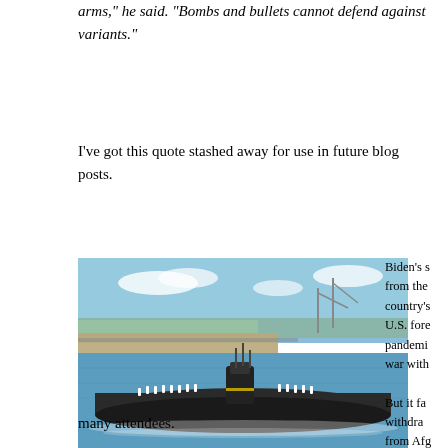arms," he said. "Bombs and bullets cannot defend against variants."
I've got this quote stashed away for use in future blog posts.
[Figure (photo): American nuclear submarine docked in the South China Sea, with sailors standing on the hull. Blue sky, harbor pier visible in background.]
American nuclear sub in the South China Sea
Biden's s from the country's U.S. fore pandemi war with But it fa withdra from Afg missile a including minds, it
many attendees.